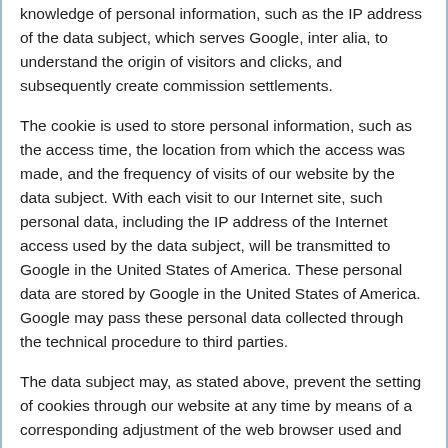knowledge of personal information, such as the IP address of the data subject, which serves Google, inter alia, to understand the origin of visitors and clicks, and subsequently create commission settlements.
The cookie is used to store personal information, such as the access time, the location from which the access was made, and the frequency of visits of our website by the data subject. With each visit to our Internet site, such personal data, including the IP address of the Internet access used by the data subject, will be transmitted to Google in the United States of America. These personal data are stored by Google in the United States of America. Google may pass these personal data collected through the technical procedure to third parties.
The data subject may, as stated above, prevent the setting of cookies through our website at any time by means of a corresponding adjustment of the web browser used and thus permanently deny the setting of cookies. Such an adjustment to the Internet browser used would also prevent Google Analytics from setting a cookie on the information technology system of the data subject. In addition, cookies already in use by Google Analytics may be deleted at any time via a web browser or other software programs.